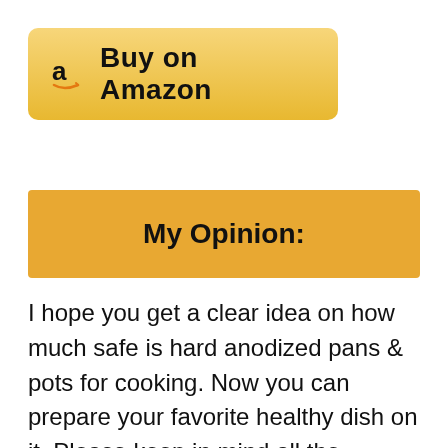[Figure (logo): Buy on Amazon button with Amazon logo (stylized 'a' with arrow) on a gold gradient background]
My Opinion:
I hope you get a clear idea on how much safe is hard anodized pans & pots for cooking. Now you can prepare your favorite healthy dish on it. Please keep in mind all the recommendation &